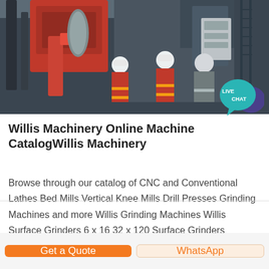[Figure (photo): Industrial workers in red uniforms and white hard hats working on heavy red machinery and industrial equipment in a factory or plant setting.]
Willis Machinery Online Machine CatalogWillis Machinery
Browse through our catalog of CNC and Conventional Lathes Bed Mills Vertical Knee Mills Drill Presses Grinding Machines and more Willis Grinding Machines Willis Surface Grinders 6 x 16 32 x 120 Surface Grinders Cylindrical Grinders 10 15 Swing x 14 80 Centers